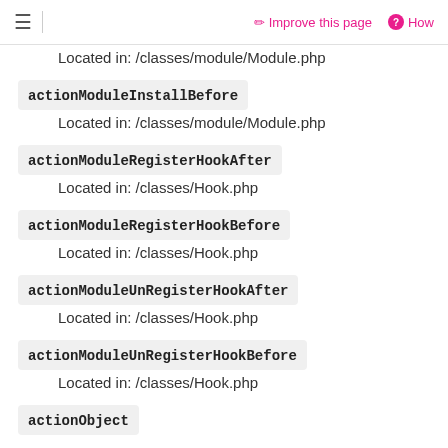≡  Improve this page  ? How
Located in: /classes/module/Module.php
actionModuleInstallBefore
Located in: /classes/module/Module.php
actionModuleRegisterHookAfter
Located in: /classes/Hook.php
actionModuleRegisterHookBefore
Located in: /classes/Hook.php
actionModuleUnRegisterHookAfter
Located in: /classes/Hook.php
actionModuleUnRegisterHookBefore
Located in: /classes/Hook.php
actionObject